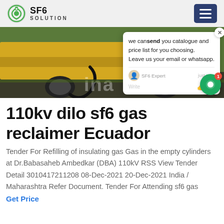SF6 SOLUTION
[Figure (photo): Yellow industrial truck/vehicle with hoses connected, outdoor setting. Chat popup overlay visible on right side with text: 'we can send you catalogue and price list for you choosing. Leave us your email or whatsapp.' with SF6 Expert agent and 'just now' timestamp.]
110kv dilo sf6 gas reclaimer Ecuador
Tender For Refilling of insulating gas Gas in the empty cylinders at Dr.Babasaheb Ambedkar (DBA) 110kV RSS View Tender Detail 3010417211208 08-Dec-2021 20-Dec-2021 India / Maharashtra Refer Document. Tender For Attending sf6 gas
Get Price